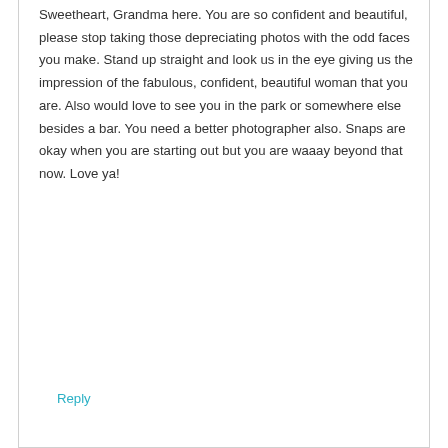Sweetheart, Grandma here. You are so confident and beautiful, please stop taking those depreciating photos with the odd faces you make. Stand up straight and look us in the eye giving us the impression of the fabulous, confident, beautiful woman that you are. Also would love to see you in the park or somewhere else besides a bar. You need a better photographer also. Snaps are okay when you are starting out but you are waaay beyond that now. Love ya!
Reply